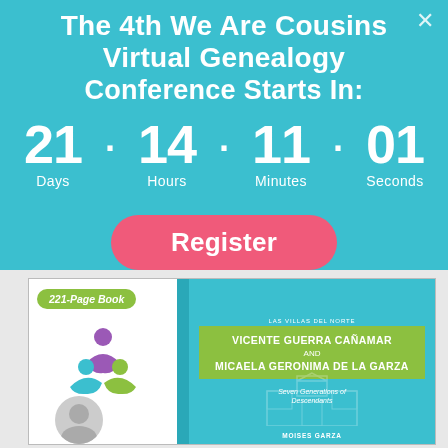The 4th We Are Cousins Virtual Genealogy Conference Starts In:
21 · 14 · 11 · 01
Days   Hours   Minutes   Seconds
Register
[Figure (screenshot): Book cover for Vicente Guerra Cañamar and Micaela Geronima de la Garza, 221-Page Book, Seven Generations of Descendants, by Moises Garza. Las Villas del Norte series. Teal and green cover with church illustration.]